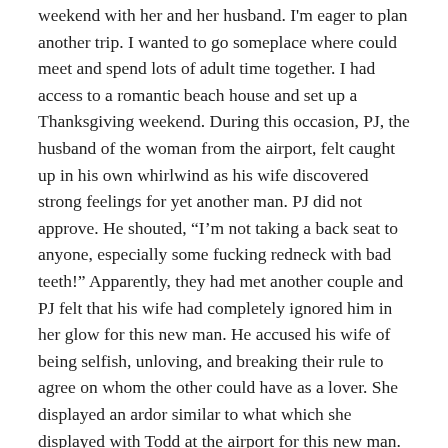weekend with her and her husband. I'm eager to plan another trip. I wanted to go someplace where could meet and spend lots of adult time together. I had access to a romantic beach house and set up a Thanksgiving weekend. During this occasion, PJ, the husband of the woman from the airport, felt caught up in his own whirlwind as his wife discovered strong feelings for yet another man. PJ did not approve. He shouted, “I’m not taking a back seat to anyone, especially some fucking redneck with bad teeth!” Apparently, they had met another couple and PJ felt that his wife had completely ignored him in her glow for this new man. He accused his wife of being selfish, unloving, and breaking their rule to agree on whom the other could have as a lover. She displayed an ardor similar to what which she displayed with Todd at the airport for this new man. Her husband treated all of his thoughts as facts not ideas.
The entire beach weekend passed without sex (bummer) in a failed effort to help PJ see that he was not adapting to the circumstances. We failed. Again and again, he tried to force an interpretation, insisting his feelings were the truth. His tantrum sucked up every other alternative. We could do nothing, but cope with his raging until